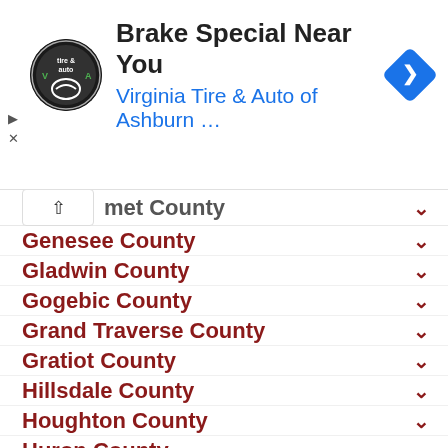[Figure (screenshot): Advertisement banner for Virginia Tire & Auto of Ashburn with logo, title 'Brake Special Near You', and navigation arrow icon]
met County (partial, collapsed/expanded)
Genesee County
Gladwin County
Gogebic County
Grand Traverse County
Gratiot County
Hillsdale County
Houghton County
Huron County
Ingham County